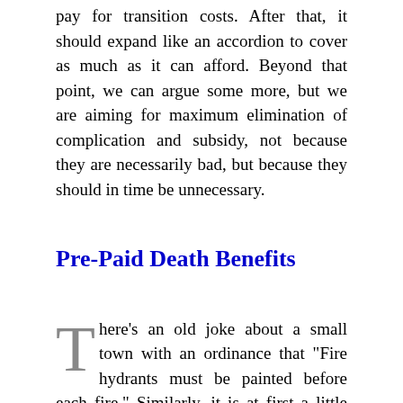pay for transition costs. After that, it should expand like an accordion to cover as much as it can afford. Beyond that point, we can argue some more, but we are aiming for maximum elimination of complication and subsidy, not because they are necessarily bad, but because they should in time be unnecessary.
Pre-Paid Death Benefits
There's an old joke about a small town with an ordinance that "Fire hydrants must be painted before each fire." Similarly, it is at first a little confusing about how pre-paid health insurance could pay for the health care costs of someone's last year of life. Necessarily, such a proposal implies the existence of a second mechanism for paying for the costs as they arise, but getting paid back for them later.